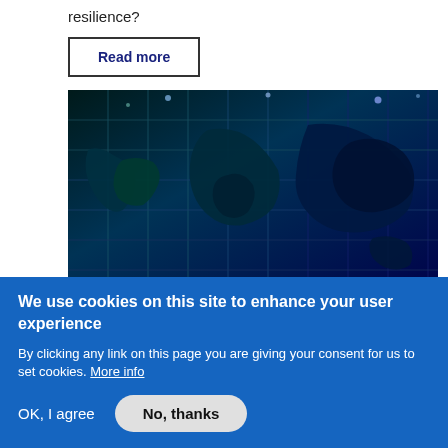resilience?
Read more
[Figure (photo): A dark photo of a world map displayed on a grid of illuminated panels with blue and teal lighting, resembling a digital globe display wall.]
We use cookies on this site to enhance your user experience
By clicking any link on this page you are giving your consent for us to set cookies. More info
OK, I agree
No, thanks